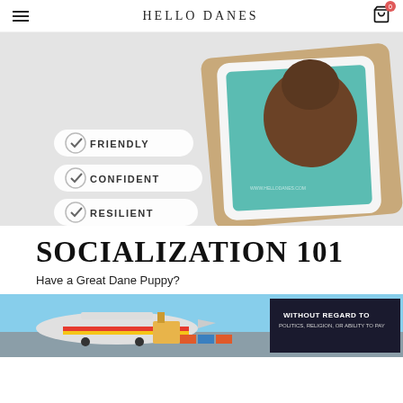HELLO DANES
[Figure (photo): Hero banner showing a Great Dane puppy on a tablet device with checklist items: FRIENDLY, CONFIDENT, RESILIENT on a light grey background]
SOCIALIZATION 101
Have a Great Dane Puppy?
[Figure (photo): Advertisement banner showing airplanes at an airport with text 'WITHOUT REGARD TO POLITICS, RELIGION, OR ABILITY TO PAY']